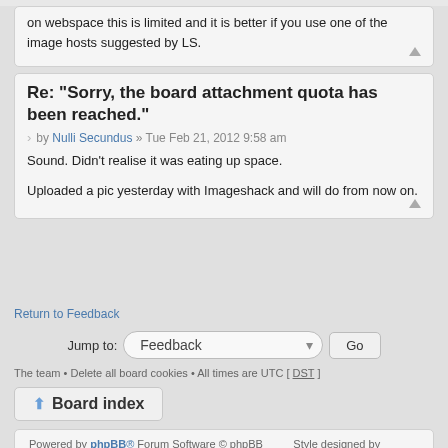on webspace this is limited and it is better if you use one of the image hosts suggested by LS.
Re: "Sorry, the board attachment quota has been reached."
by Nulli Secundus » Tue Feb 21, 2012 9:58 am
Sound. Didn't realise it was eating up space.

Uploaded a pic yesterday with Imageshack and will do from now on.
Return to Feedback
Jump to: Feedback Go
The team • Delete all board cookies • All times are UTC [ DST ]
Board index
Powered by phpBB® Forum Software © phpBB Group    Style designed by Artodia.